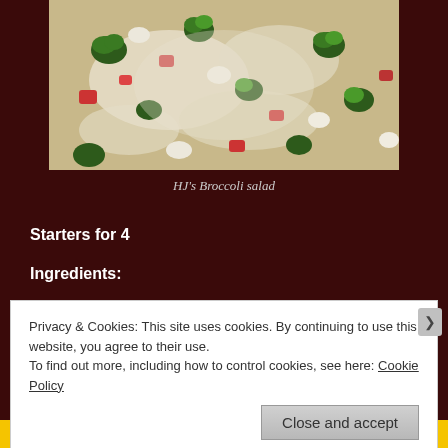[Figure (photo): A close-up photograph of HJ's Broccoli salad showing chopped broccoli florets, tomatoes, and other vegetables coated in a creamy white dressing on a plate.]
HJ's Broccoli salad
Starters for 4
Ingredients:
Privacy & Cookies: This site uses cookies. By continuing to use this website, you agree to their use.
To find out more, including how to control cookies, see here: Cookie Policy
Close and accept
Collaborate, P2.